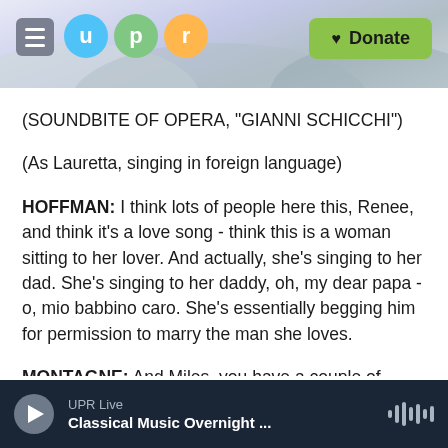UPR — menu, logo circles (u, p, r), Donate button
(SOUNDBITE OF OPERA, "GIANNI SCHICCHI")
(As Lauretta, singing in foreign language)
HOFFMAN: I think lots of people here this, Renee, and think it's a love song - think this is a woman sitting to her lover. And actually, she's singing to her dad. She's singing to her daddy, oh, my dear papa - o, mio babbino caro. She's essentially begging him for permission to marry the man she loves.
MONTAGNE: And Miles, you have a couple of daughters who love you very much. I happen to
UPR Live — Classical Music Overnight ...